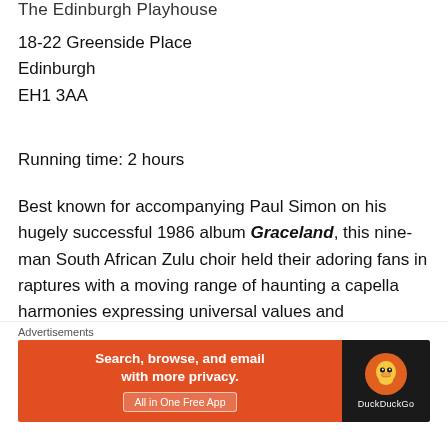The Edinburgh Playhouse
18-22 Greenside Place
Edinburgh
EH1 3AA
Running time: 2 hours
Best known for accompanying Paul Simon on his hugely successful 1986 album Graceland, this nine-man South African Zulu choir held their adoring fans in raptures with a moving range of haunting a capella harmonies expressing universal values and experiences.
As you would expect, one of the songs – Long Walk to F...
[Figure (other): DuckDuckGo advertisement banner: orange left section with text 'Search, browse, and email with more privacy. All in One Free App' and black right section with DuckDuckGo logo and brand name]